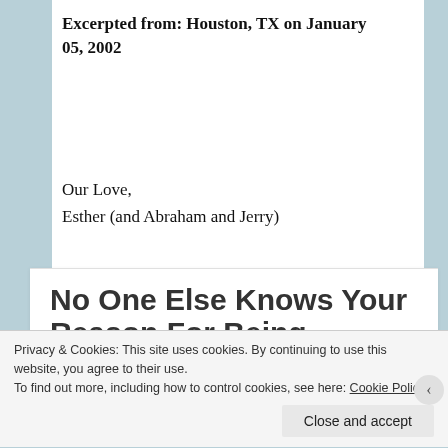Excerpted from: Houston, TX on January 05, 2002
Our Love,
Esther (and Abraham and Jerry)
No One Else Knows Your Reason For Being...
Posted by Constance Todd Smith on June 4, 2016
Privacy & Cookies: This site uses cookies. By continuing to use this website, you agree to their use.
To find out more, including how to control cookies, see here: Cookie Policy
Close and accept